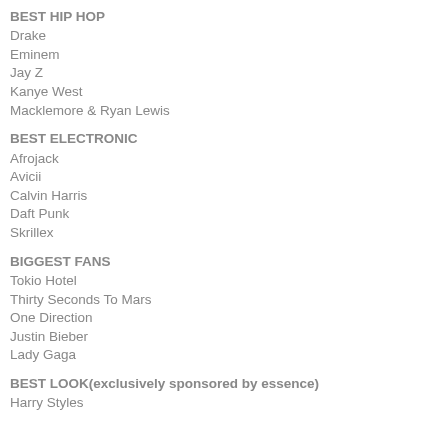BEST HIP HOP
Drake
Eminem
Jay Z
Kanye West
Macklemore & Ryan Lewis
BEST ELECTRONIC
Afrojack
Avicii
Calvin Harris
Daft Punk
Skrillex
BIGGEST FANS
Tokio Hotel
Thirty Seconds To Mars
One Direction
Justin Bieber
Lady Gaga
BEST LOOK(exclusively sponsored by essence)
Harry Styles